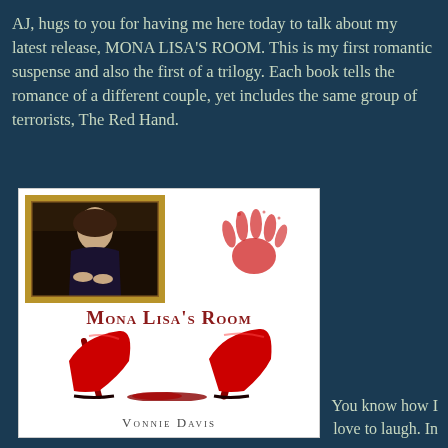AJ, hugs to you for having me here today to talk about my latest release, MONA LISA'S ROOM. This is my first romantic suspense and also the first of a trilogy. Each book tells the romance of a different couple, yet includes the same group of terrorists, The Red Hand.
[Figure (illustration): Book cover for 'Mona Lisa's Room' by Vonnie Davis. Features a painting of the Mona Lisa in the top left, a blood-red handprint in the top right, red stiletto heels with blood at the bottom center, the title 'Mona Lisa's Room' in dark red text, and the author name 'Vonnie Davis' at the bottom.]
You know how I love to laugh. In